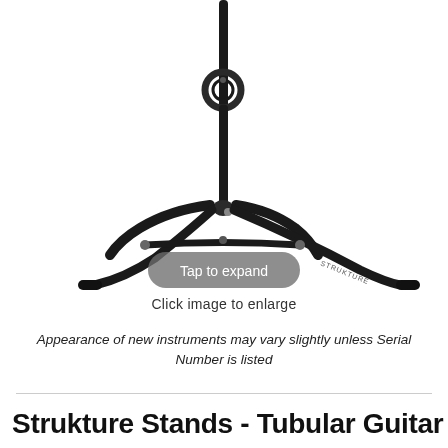[Figure (photo): Photo of a black tubular guitar stand with tripod legs and a circular yoke at the top. The stand is shown against a white background. A 'Tap to expand' button overlay is visible at the bottom of the image.]
Click image to enlarge
Appearance of new instruments may vary slightly unless Serial Number is listed
Strukture Stands - Tubular Guitar